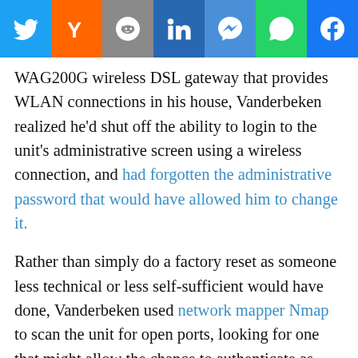[Figure (other): Social sharing bar with icons for Twitter, Hacker News (Y), Reddit, LinkedIn, Messenger, WhatsApp, and Facebook]
WAG200G wireless DSL gateway that provides WLAN connections in his house, Vanderbeken realized he'd shut off the ability to login to the unit's administrative screen using a wireless connection, and had forgotten the administrative password that would have allowed him to change it.
Rather than simply do a factory reset as someone less technical or less self-sufficient would have done, Vanderbeken used network mapper Nmap to scan the unit for open ports, looking for one that might allow the chance to authenticate as administrator. Instead he found that TCP port 32674 responded to messages, but that no documentation he could find online detailed either the